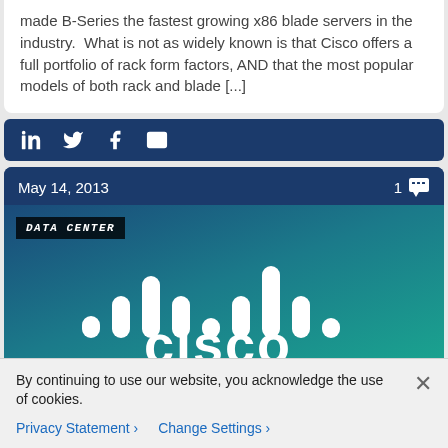made B-Series the fastest growing x86 blade servers in the industry.  What is not as widely known is that Cisco offers a full portfolio of rack form factors, AND that the most popular models of both rack and blade [...]
[Figure (other): Social sharing bar with dark blue background showing LinkedIn, Twitter, Facebook, and email icons]
May 14, 2013
1 [comment icon]
[Figure (logo): Cisco logo image with DATA CENTER badge overlay on a blue-teal gradient background showing the Cisco logo with signal bars icon and 'cisco' wordmark]
By continuing to use our website, you acknowledge the use of cookies.
Privacy Statement > Change Settings >